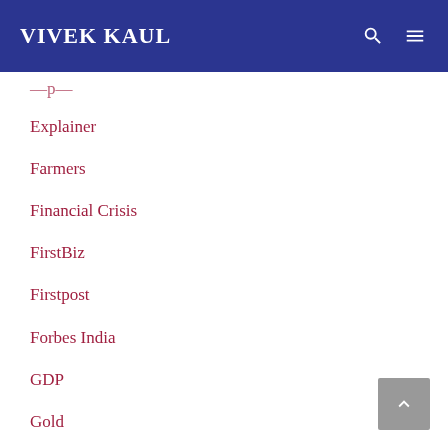VIVEK KAUL
Explainer
Farmers
Financial Crisis
FirstBiz
Firstpost
Forbes India
GDP
Gold
Government borrowing
GST
Hindi
Home